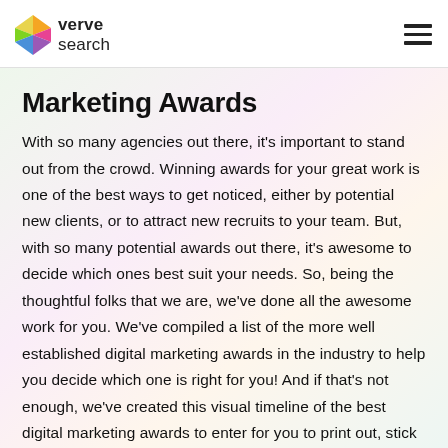verve search
Marketing Awards
With so many agencies out there, it’s important to stand out from the crowd. Winning awards for your great work is one of the best ways to get noticed, either by potential new clients, or to attract new recruits to your team. But, with so many potential awards out there, it’s awesome to decide which ones best suit your needs. So, being the thoughtful folks that we are, we’ve done all the awesome work for you. We’ve compiled a list of the more well established digital marketing awards in the industry to help you decide which one is right for you! And if that’s not enough, we’ve created this visual timeline of the best digital marketing awards to enter for you to print out, stick on your fridge, tape to your desk,